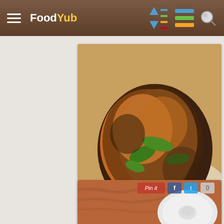Food Yub
[Figure (photo): Close-up photo of a crispy golden-brown Air Fryer Bone-In Chicken Thigh on a white plate, garnished with fresh basil leaves]
HungryHobby: Air Fryer Bone-In Chicken Thighs
[Figure (photo): Partial photo of a second recipe card showing an orange/rust colored cloth and a white ceramic dish, with Pinterest/Facebook/Twitter share buttons overlay]